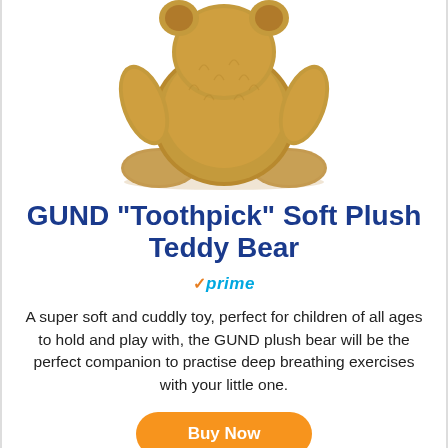[Figure (photo): GUND Toothpick soft plush teddy bear, a brown fuzzy stuffed bear viewed from behind/side, sitting with legs extended, on white background]
GUND "Toothpick" Soft Plush Teddy Bear
✓prime
A super soft and cuddly toy, perfect for children of all ages to hold and play with, the GUND plush bear will be the perfect companion to practise deep breathing exercises with your little one.